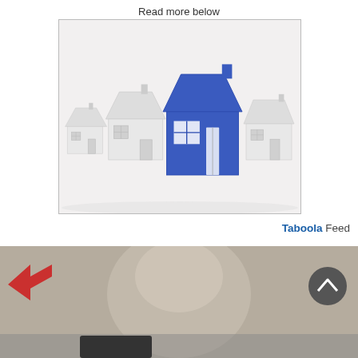Read more below
[Figure (illustration): 3D rendered illustration of a row of white miniature houses with one blue house in the center standing out, on a white background. The houses have simple gabled roofs and small windows.]
Taboola Feed
[Figure (photo): Partial view of a blurred photo showing a man's face, with a red logo/icon on the left side and a dark scroll-up button on the right.]